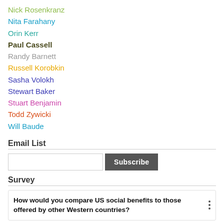Nick Rosenkranz
Nita Farahany
Orin Kerr
Paul Cassell
Randy Barnett
Russell Korobkin
Sasha Volokh
Stewart Baker
Stuart Benjamin
Todd Zywicki
Will Baude
Email List
Survey
How would you compare US social benefits to those offered by other Western countries?